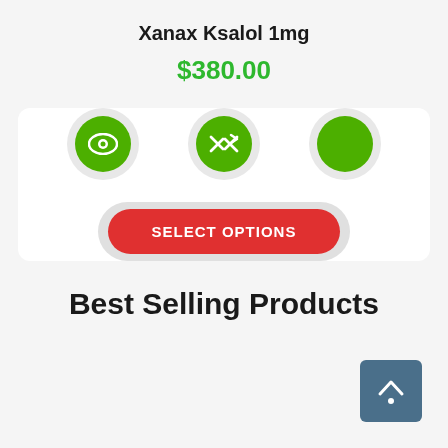Xanax Ksalol 1mg
$380.00
[Figure (infographic): Three green circular icon buttons on light grey outer circles: an eye icon, a shuffle/compare icon, and a plain green circle (wishlist/cart). Below them is a red pill-shaped SELECT OPTIONS button inside a light grey rounded rectangle background.]
Best Selling Products
[Figure (other): A teal/steel-blue square scroll-to-top button with an upward arrow icon in the bottom-right corner]